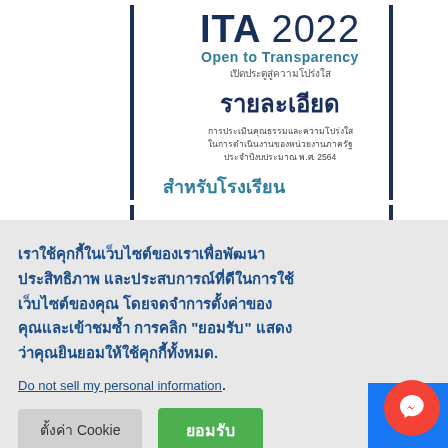[Figure (logo): ITA 2022 Open to Transparency logo with Thai text รายละเอียด and description of integrity assessment for government agencies fiscal year 2564]
สำหรับโรงเรียน
เราใช้คุกกี้ในเว็บไซต์ของเราเพื่อพัฒนาประสิทธิภาพ และประสบการณ์ที่ดีในการใช้เว็บไซต์ของคุณ โดยจดจำการตั้งค่าของคุณและเข้าชมซ้ำ การคลิก "ยอมรับ" แสดงว่าคุณยินยอมให้ใช้คุกกี้ทั้งหมด.
Do not sell my personal information.
ตั้งค่า Cookie
ยอมรับ